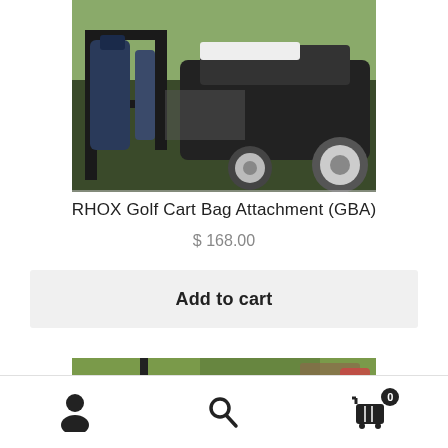[Figure (photo): Photo of a golf cart with bag attachment (GBA) mounted on the rear, showing golf bags attached, chrome wheels, on a golf course.]
RHOX Golf Cart Bag Attachment (GBA)
$ 168.00
Add to cart
[Figure (photo): Partial photo of another golf product on a golf course, partially cropped at the bottom of the page.]
Navigation bar with user icon, search icon, and cart icon with badge showing 0